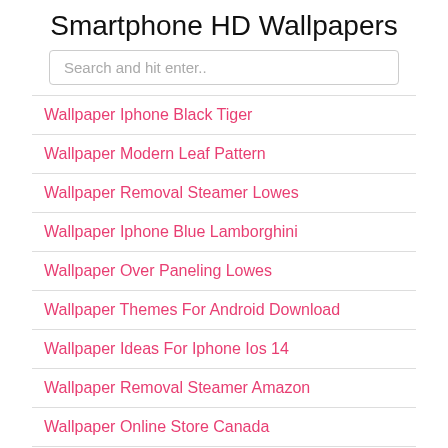Smartphone HD Wallpapers
Search and hit enter..
Wallpaper Iphone Black Tiger
Wallpaper Modern Leaf Pattern
Wallpaper Removal Steamer Lowes
Wallpaper Iphone Blue Lamborghini
Wallpaper Over Paneling Lowes
Wallpaper Themes For Android Download
Wallpaper Ideas For Iphone Ios 14
Wallpaper Removal Steamer Amazon
Wallpaper Online Store Canada
Wallpaper Iphone Xr Red 4k